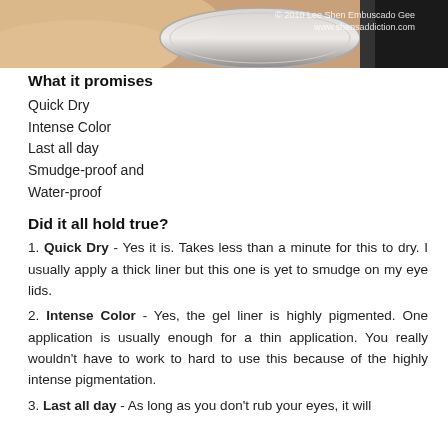[Figure (photo): Close-up photo of a cosmetic gel liner container being held, with watermark text '© 2010 Lee Shen Embuscado Gee www.shensaddiction.com' in upper right corner]
What it promises
Quick Dry
Intense Color
Last all day
Smudge-proof and
Water-proof
Did it all hold true?
1. Quick Dry - Yes it is. Takes less than a minute for this to dry. I usually apply a thick liner but this one is yet to smudge on my eye lids.
2. Intense Color - Yes, the gel liner is highly pigmented. One application is usually enough for a thin application. You really wouldn't have to work to hard to use this because of the highly intense pigmentation.
3. Last all day - As long as you don't rub your eyes, it will